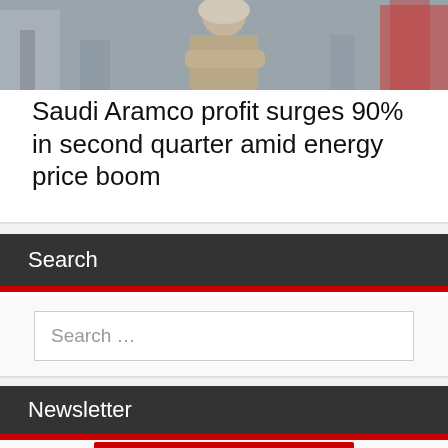[Figure (photo): Photo of a person at an industrial/oil facility, partially cropped at top]
Saudi Aramco profit surges 90% in second quarter amid energy price boom
Search
Search …
Newsletter